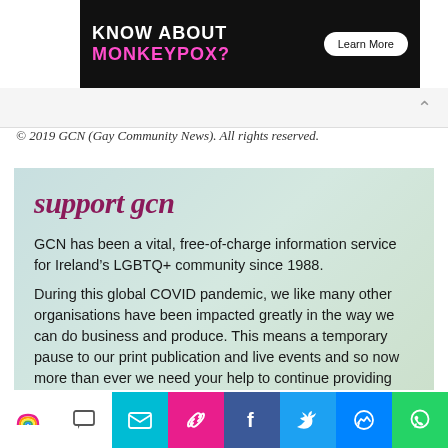[Figure (other): Advertisement banner: 'KNOW ABOUT MONKEYPOX? Learn More' on black background with pink text]
© 2019 GCN (Gay Community News). All rights reserved.
support gcn
GCN has been a vital, free-of-charge information service for Ireland's LGBTQ+ community since 1988.
During this global COVID pandemic, we like many other organisations have been impacted greatly in the way we can do business and produce. This means a temporary pause to our print publication and live events and so now more than ever we need your help to continue providing this community resource digitally.
GCN is a registered charity with a not-for-profit business model and we need your support. If you value having an independent LGBTQ+ media in Ireland, you can help
[Figure (other): Bottom social sharing toolbar with icons: rainbow, comment, email, link, Facebook, Twitter, Messenger, WhatsApp]